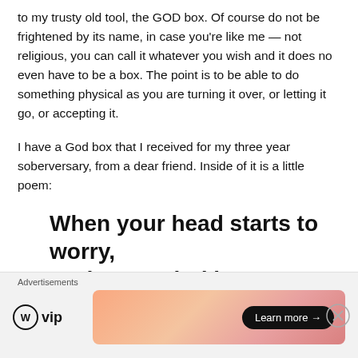to my trusty old tool, the GOD box. Of course do not be frightened by its name, in case you're like me — not religious, you can call it whatever you wish and it does no even have to be a box. The point is to be able to do something physical as you are turning it over, or letting it go, or accepting it.
I have a God box that I received for my three year soberversary, from a dear friend. Inside of it is a little poem:
When your head starts to worry,
And your mind just can't
[Figure (other): Advertisement bar at the bottom: WordPress VIP logo on the left, gradient orange/pink ad box with 'Learn more →' button on the right, close (X) button, label 'Advertisements']